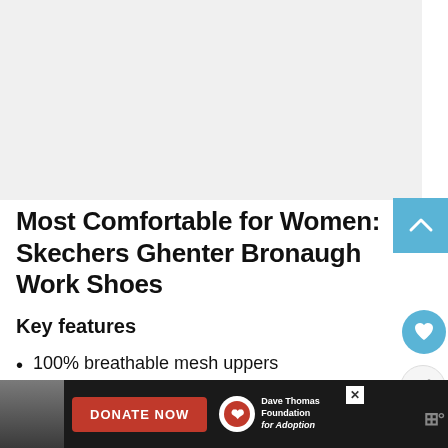[Figure (photo): Blank/white image placeholder area at the top of the page]
Most Comfortable for Women: Skechers Ghenter Bronaugh Work Shoes
Key features
100% breathable mesh uppers
Non-resistant outsole
[Figure (infographic): Bottom advertisement bar with a person photo, red DONATE NOW button, and Dave Thomas Foundation for Adoption logo]